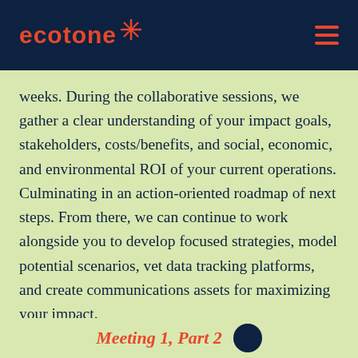ecotone
weeks. During the collaborative sessions, we gather a clear understanding of your impact goals, stakeholders, costs/benefits, and social, economic, and environmental ROI of your current operations. Culminating in an action-oriented roadmap of next steps. From there, we can continue to work alongside you to develop focused strategies, model potential scenarios, vet data tracking platforms, and create communications assets for maximizing your impact.
Meeting 1. Part 2